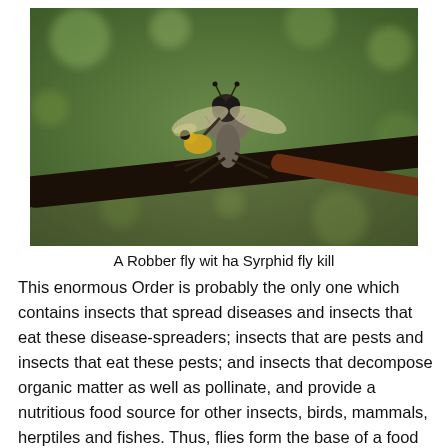[Figure (photo): A close-up photograph of a Robber fly perched on a dark twig, holding a Syrphid fly kill. The background is blurred green foliage.]
A Robber fly wit ha Syrphid fly kill
This enormous Order is probably the only one which contains insects that spread diseases and insects that eat these disease-spreaders; insects that are pests and insects that eat these pests; and insects that decompose organic matter as well as pollinate, and provide a nutritious food source for other insects, birds, mammals, herptiles and fishes. Thus, flies form the base of a food pyramid, and without them, this world is definitely hard to imagine. Diptera is also an ideal candidate for research. We are already in debt of Drosophila flies for